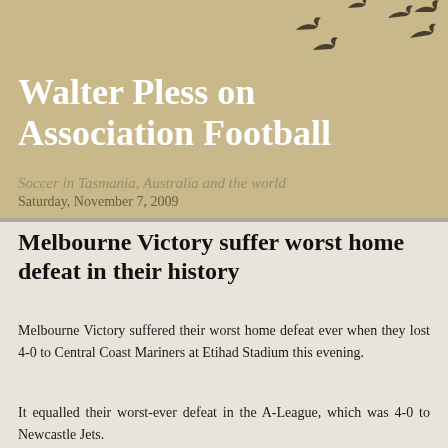Walter Pless on Association Football
Soccer in Tasmania, Australia and the world
Saturday, November 7, 2009
Melbourne Victory suffer worst home defeat in their history
Melbourne Victory suffered their worst home defeat ever when they lost 4-0 to Central Coast Mariners at Etihad Stadium this evening.
It equalled their worst-ever defeat in the A-League, which was 4-0 to Newcastle Jets.